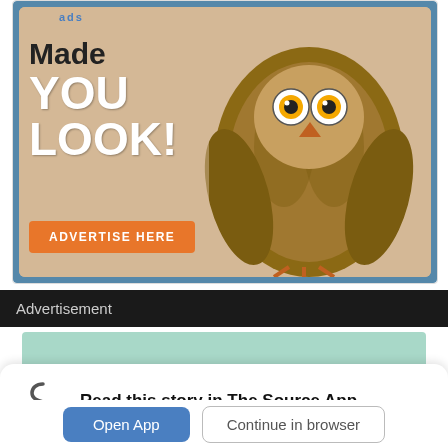[Figure (illustration): Advertisement banner showing an owl with text 'Made YOU LOOK!' and an orange 'ADVERTISE HERE' button on a tan background with blue border]
Advertisement
[Figure (infographic): Teal/mint colored section partially visible]
[Figure (illustration): College News Source app prompt modal with logo, text 'Read this story in The Source App...', Open App button and Continue in browser button]